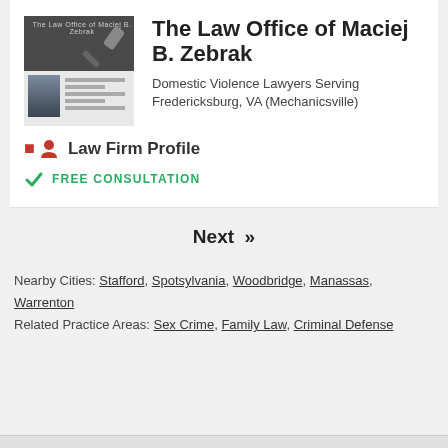[Figure (screenshot): Screenshot thumbnail of The Law Office of Maciej B. Zebrak website showing a gavel image on top and a lawyer portrait on bottom]
The Law Office of Maciej B. Zebrak
Domestic Violence Lawyers Serving Fredericksburg, VA (Mechanicsville)
Law Firm Profile
FREE CONSULTATION
Next »
Nearby Cities: Stafford, Spotsylvania, Woodbridge, Manassas, Warrenton
Related Practice Areas: Sex Crime, Family Law, Criminal Defense